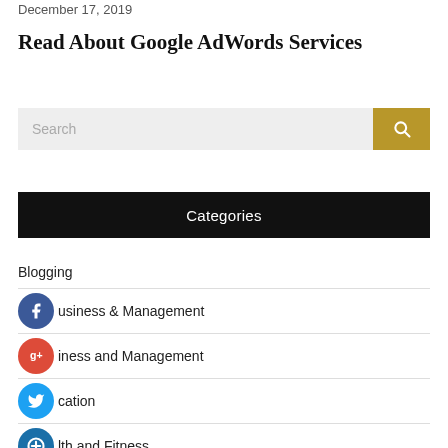December 17, 2019
Read About Google AdWords Services
[Figure (other): Search bar with text input field and gold search button with magnifying glass icon]
Categories
Blogging
Business & Management
Business and Management
Education
Health and Fitness
Home and Garden